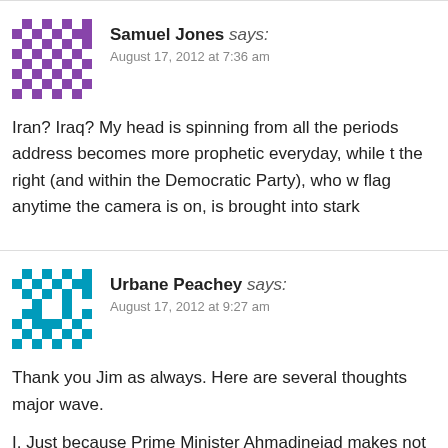[Figure (other): Purple pixel-art avatar for Samuel Jones]
Samuel Jones says:
August 17, 2012 at 7:36 am
Iran? Iraq? My head is spinning from all the periods address becomes more prophetic everyday, while the right (and within the Democratic Party), who w flag anytime the camera is on, is brought into stark
[Figure (other): Teal/cyan pixel-art avatar for Urbane Peachey]
Urbane Peachey says:
August 17, 2012 at 9:27 am
Thank you Jim as always. Here are several thoughts major wave.

I. Just because Prime Minister Ahmadinejad makes not translate into reality. Iran does not have the t